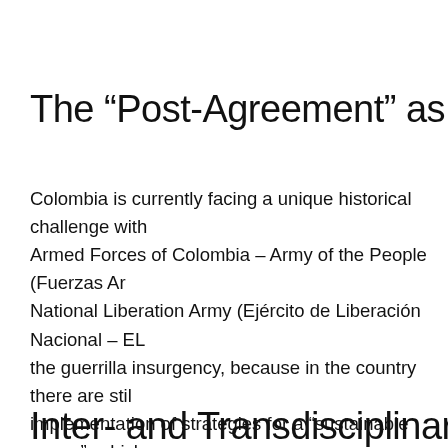The “Post-Agreement” as an Op
Colombia is currently facing a unique historical challenge with Armed Forces of Colombia – Army of the People (Fuerzas Arm National Liberation Army (Ejército de Liberación Nacional – EL the guerrilla insurgency, because in the country there are stil implementation of strategies for a “sustainable peace”, which demands for the materialization of territorial rights and susta processes of inequality and social injustice. This is why the re is considered as mega-biodiverse, and this high variety of ec natural resources), as victim (of deforestation, fumigation, et territory is distributed and used are the center of any lasting
Inter- and Transdisciplinary Ap